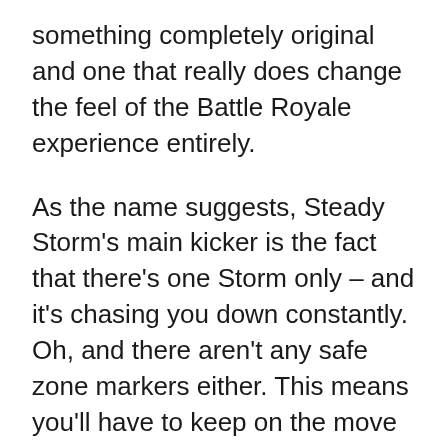something completely original and one that really does change the feel of the Battle Royale experience entirely.
As the name suggests, Steady Storm's main kicker is the fact that there's one Storm only – and it's chasing you down constantly. Oh, and there aren't any safe zone markers either. This means you'll have to keep on the move and try your best to predict where the Storm Circle is closing.
To get to grips with the new mode, we've put together everything you need to know about it below. You'll find the complete ruleset, as well as some tips and tricks to help you survive the deadly Storm.